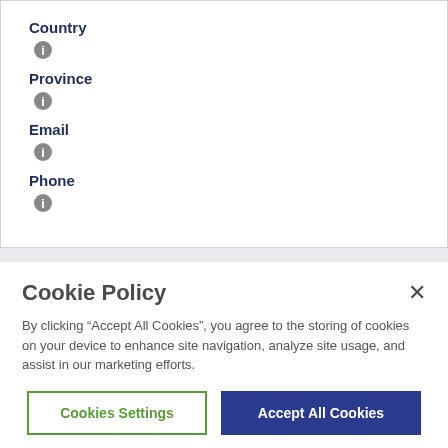Country
Province
Email
Phone
Cookie Policy
By clicking "Accept All Cookies", you agree to the storing of cookies on your device to enhance site navigation, analyze site usage, and assist in our marketing efforts.
Cookies Settings
Accept All Cookies